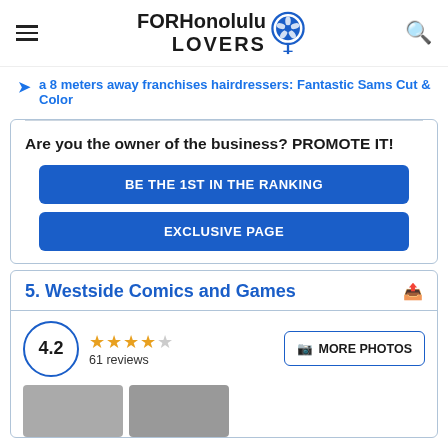FOR Honolulu LOVERS
a 8 meters away franchises hairdressers: Fantastic Sams Cut & Color
Are you the owner of the business? PROMOTE IT!
BE THE 1ST IN THE RANKING
EXCLUSIVE PAGE
5. Westside Comics and Games
4.2  61 reviews  MORE PHOTOS